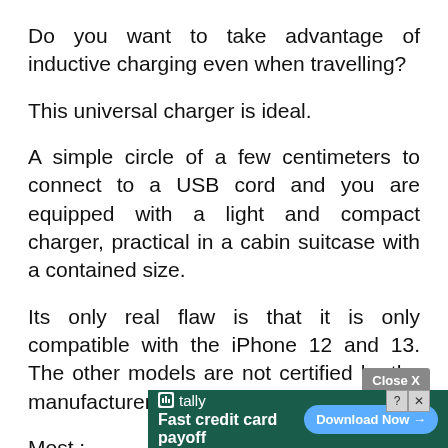Do you want to take advantage of inductive charging even when travelling?
This universal charger is ideal.
A simple circle of a few centimeters to connect to a USB cord and you are equipped with a light and compact charger, practical in a cabin suitcase with a contained size.
Its only real flaw is that it is only compatible with the iPhone 12 and 13. The other models are not certified by the manufacturer.
Most :
C
[Figure (screenshot): Advertisement banner for Tally app showing 'Fast credit card payoff' with a 'Download Now' button, overlaid on the page with a 'Close X' button.]